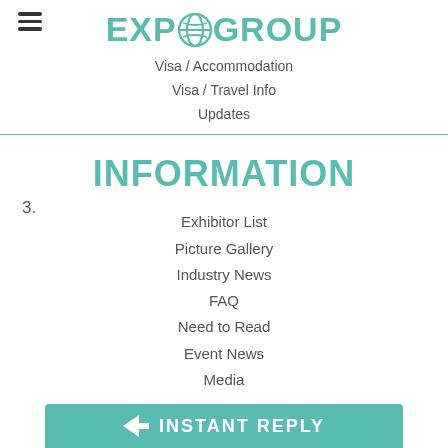EXPOGROUP
Visa / Accommodation
Visa / Travel Info
Updates
INFORMATION
Exhibitor List
Picture Gallery
Industry News
FAQ
Need to Read
Event News
Media
INSTANT REPLY